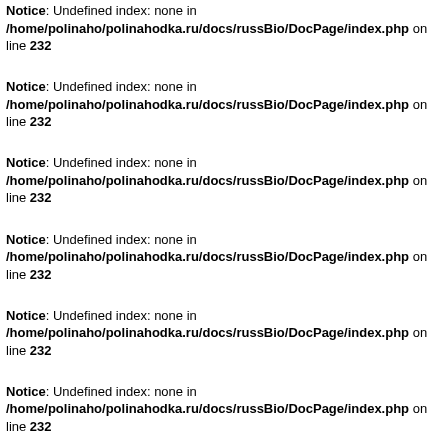Notice: Undefined index: none in /home/polinaho/polinahodka.ru/docs/russBio/DocPage/index.php on line 232
Notice: Undefined index: none in /home/polinaho/polinahodka.ru/docs/russBio/DocPage/index.php on line 232
Notice: Undefined index: none in /home/polinaho/polinahodka.ru/docs/russBio/DocPage/index.php on line 232
Notice: Undefined index: none in /home/polinaho/polinahodka.ru/docs/russBio/DocPage/index.php on line 232
Notice: Undefined index: none in /home/polinaho/polinahodka.ru/docs/russBio/DocPage/index.php on line 232
Notice: Undefined index: none in /home/polinaho/polinahodka.ru/docs/russBio/DocPage/index.php on line 232
Notice: Undefined index: none in /home/polinaho/polinahodka.ru/docs/russBio/DocPage/index.php on line 232
Notice: Undefined index: none in /home/polinaho/polinahodka.ru/docs/russBio/DocPage/index.php on line 232
Notice: Undefined index: none in /home/polinaho/polinahodka.ru/docs/russBio/DocPage/index.php on line 232
Notice: Undefined index: none in /home/polinaho/polinahodka.ru/docs/russBio/DocPage/index.php on line 232
Notice: Undefined index: none in /home/polinaho/polinahodka.ru/docs/russBio/DocPage/index.php on line 232